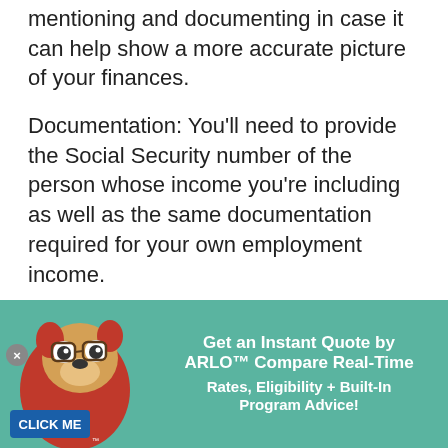mentioning and documenting in case it can help show a more accurate picture of your finances.
Documentation: You'll need to provide the Social Security number of the person whose income you're including as well as the same documentation required for your own employment income.
Part-time employment income — This includes employment that generally covers less than 40 hours per week.
It counts toward your financial assessment if you have had the job for
[Figure (infographic): Promotional banner with teal background showing a cartoon dog mascot wearing glasses with a 'CLICK ME' badge, advertising ARLO.com with text: 'Get an Instant Quote by ARLO™ Compare Real-Time Rates, Eligibility + Built-In Program Advice!' with a close button (×)]